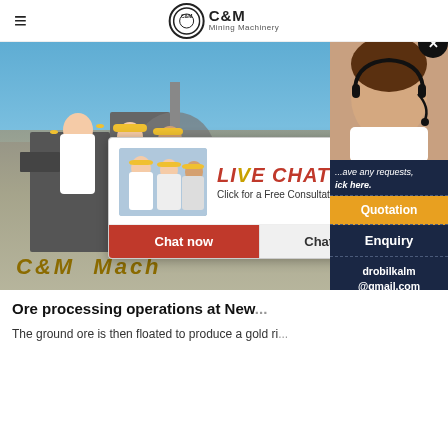C&M Mining Machinery
[Figure (screenshot): Mining machinery hero image with workers in hard hats and industrial equipment in background, overlaid with live chat popup showing 'LIVE CHAT - Click for a Free Consultation' with Chat now and Chat later buttons]
[Figure (screenshot): Right sidebar showing female customer service representative with headset, requests text, Quotation button, Enquiry button, drobilkalm@gmail.com email, and Chat button]
Ore processing operations at New...
The ground ore is then floated to produce a gold ri...